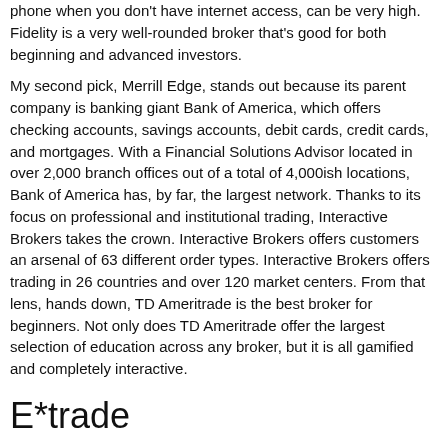phone when you don't have internet access, can be very high. Fidelity is a very well-rounded broker that's good for both beginning and advanced investors.
My second pick, Merrill Edge, stands out because its parent company is banking giant Bank of America, which offers checking accounts, savings accounts, debit cards, credit cards, and mortgages. With a Financial Solutions Advisor located in over 2,000 branch offices out of a total of 4,000ish locations, Bank of America has, by far, the largest network. Thanks to its focus on professional and institutional trading, Interactive Brokers takes the crown. Interactive Brokers offers customers an arsenal of 63 different order types. Interactive Brokers offers trading in 26 countries and over 120 market centers. From that lens, hands down, TD Ameritrade is the best broker for beginners. Not only does TD Ameritrade offer the largest selection of education across any broker, but it is all gamified and completely interactive.
E*trade
Merrill Edge's portfolio analysis tools let clients take a deep dive into how their assets are working for them. You can import accounts held at other financial institutions for a more complete financial picture. TD Ameritrade offers an enormous...